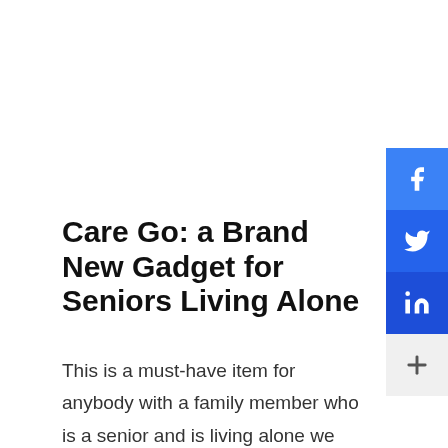[Figure (infographic): Social media share sidebar with Facebook, Twitter, LinkedIn buttons and a plus button for more sharing options]
Care Go: a Brand New Gadget for Seniors Living Alone
This is a must-have item for anybody with a family member who is a senior and is living alone we are constantly worrying about where he/she is. I found this amazing brand new gadget after days of research looking for some device that would give me